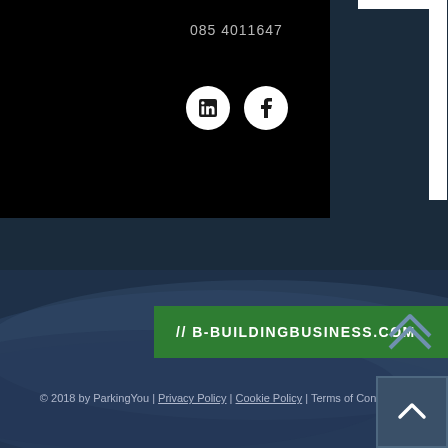085 4011647
[Figure (illustration): LinkedIn and Facebook social media icons (white circles with logos)]
// B-BUILDINGBUSINESS.COM
[Figure (illustration): Chevron/double arrow up outline icon in dark navy]
© 2018 by ParkingYou | Privacy Policy | Cookie Policy | Terms of Conditions
[Figure (illustration): Back to top button - dark square with white upward chevron]